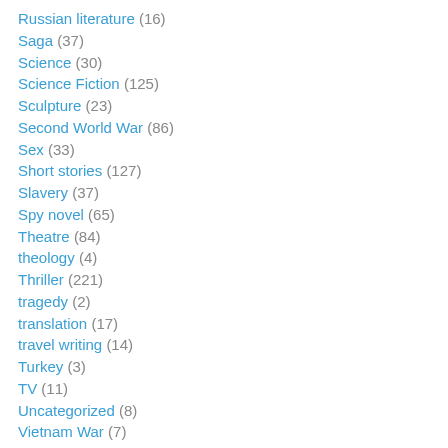Russian literature (16)
Saga (37)
Science (30)
Science Fiction (125)
Sculpture (23)
Second World War (86)
Sex (33)
Short stories (127)
Slavery (37)
Spy novel (65)
Theatre (84)
theology (4)
Thriller (221)
tragedy (2)
translation (17)
travel writing (14)
Turkey (3)
TV (11)
Uncategorized (8)
Vietnam War (7)